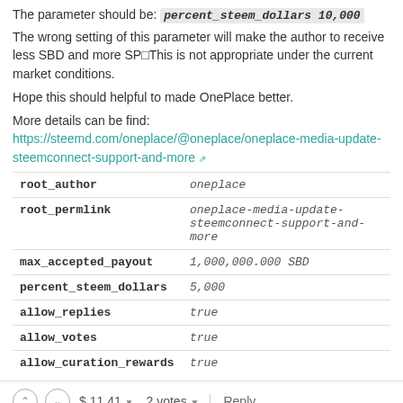The parameter should be: percent_steem_dollars 10,000
The wrong setting of this parameter will make the author to receive less SBD and more SP▯This is not appropriate under the current market conditions.
Hope this should helpful to made OnePlace better.
More details can be find: https://steemd.com/oneplace/@oneplace/oneplace-media-update-steemconnect-support-and-more
| key | value |
| --- | --- |
| root_author | oneplace |
| root_permlink | oneplace-media-update-steemconnect-support-and-more |
| max_accepted_payout | 1,000,000.000 SBD |
| percent_steem_dollars | 5,000 |
| allow_replies | true |
| allow_votes | true |
| allow_curation_rewards | true |
$ 11.41  2 votes  Reply
oneplace (59) 4 years ago (edited)
Thank you for your comment! We'll get this fixed.
Update: It is fixed